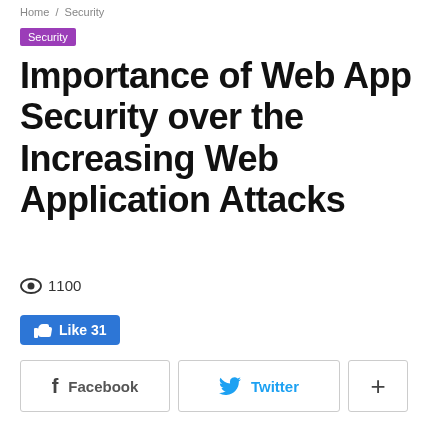Home > Security
Security
Importance of Web App Security over the Increasing Web Application Attacks
👁 1100
👍 Like 31
f  Facebook   🐦  Twitter   +